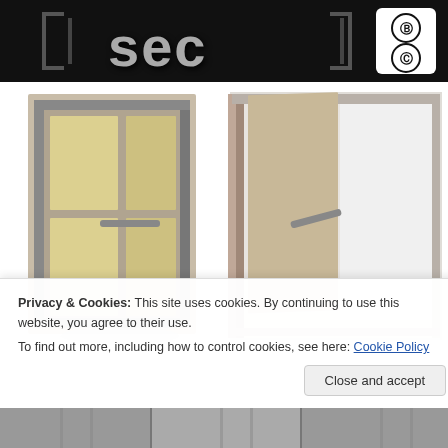[Figure (logo): Dark banner with stylized '3ec' or 'sec' text logo in gray metallic 3D letters on black background, with Creative Commons license badges (BY and CC) on the right side in a white rounded square]
[Figure (photo): Two 3D rendered images of metal-framed glass doors side by side. Left door is closed with warm beige/yellow glass panels and a horizontal bar handle. Right door is partially open showing the door swinging inward with white light visible through the opening, metal frame and bar handle visible.]
Privacy & Cookies: This site uses cookies. By continuing to use this website, you agree to their use.
To find out more, including how to control cookies, see here: Cookie Policy
[Figure (photo): Bottom strip showing partial images of metal door/window frames in gray tones]